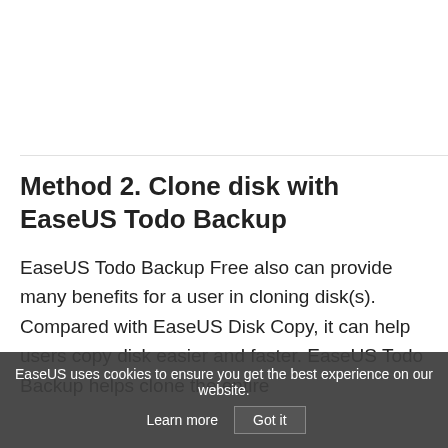[Figure (other): White rectangular area with bottom border line, representing an image placeholder or screenshot area]
Method 2. Clone disk with EaseUS Todo Backup
EaseUS Todo Backup Free also can provide many benefits for a user in cloning disk(s). Compared with EaseUS Disk Copy, it can help users copy disk easier and faster. EaseUS Todo Backup helps clone the entire disk to another...
EaseUS uses cookies to ensure you get the best experience on our website.   Learn more   Got it